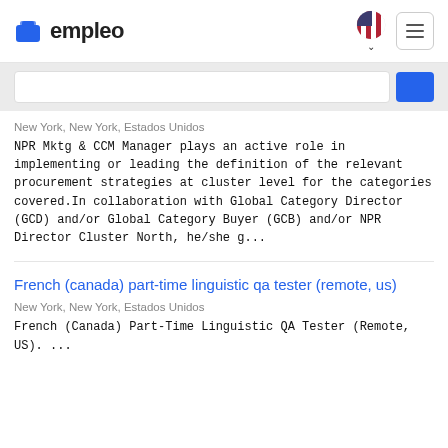empleo
New York, New York, Estados Unidos
NPR Mktg & CCM Manager plays an active role in implementing or leading the definition of the relevant procurement strategies at cluster level for the categories covered.In collaboration with Global Category Director (GCD) and/or Global Category Buyer (GCB) and/or NPR Director Cluster North, he/she g...
French (canada) part-time linguistic qa tester (remote, us)
New York, New York, Estados Unidos
French (Canada) Part-Time Linguistic QA Tester (Remote, US). ...